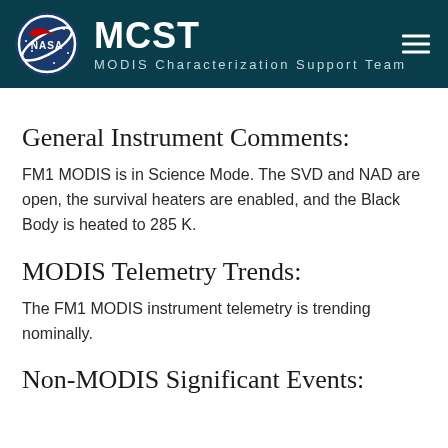MCST — MODIS Characterization Support Team
General Instrument Comments:
FM1 MODIS is in Science Mode. The SVD and NAD are open, the survival heaters are enabled, and the Black Body is heated to 285 K.
MODIS Telemetry Trends:
The FM1 MODIS instrument telemetry is trending nominally.
Non-MODIS Significant Events: